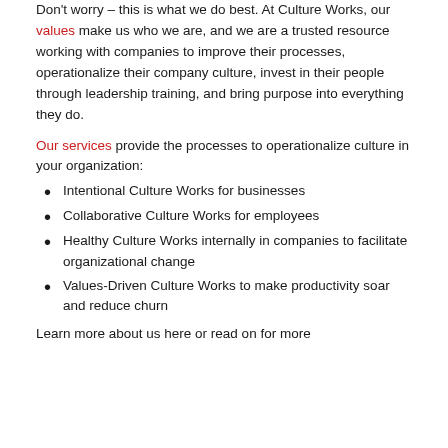Don't worry – this is what we do best. At Culture Works, our values make us who we are, and we are a trusted resource working with companies to improve their processes, operationalize their company culture, invest in their people through leadership training, and bring purpose into everything they do.
Our services provide the processes to operationalize culture in your organization:
Intentional Culture Works for businesses
Collaborative Culture Works for employees
Healthy Culture Works internally in companies to facilitate organizational change
Values-Driven Culture Works to make productivity soar and reduce churn
Learn more about us here or read on for more